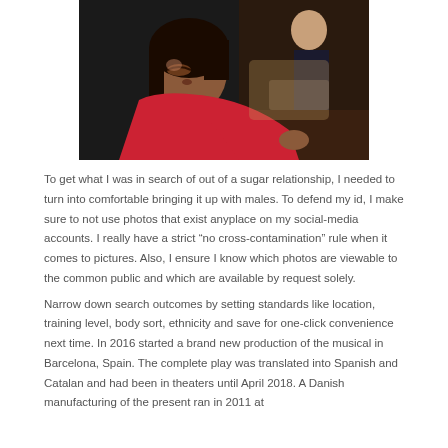[Figure (photo): A woman in a red long-sleeve top leaning forward, appearing to write or work at a table. Another person is visible in the background.]
To get what I was in search of out of a sugar relationship, I needed to turn into comfortable bringing it up with males. To defend my id, I make sure to not use photos that exist anyplace on my social-media accounts. I really have a strict “no cross-contamination” rule when it comes to pictures. Also, I ensure I know which photos are viewable to the common public and which are available by request solely.
Narrow down search outcomes by setting standards like location, training level, body sort, ethnicity and save for one-click convenience next time. In 2016 started a brand new production of the musical in Barcelona, Spain. The complete play was translated into Spanish and Catalan and had been in theaters until April 2018. A Danish manufacturing of the present ran in 2011 at